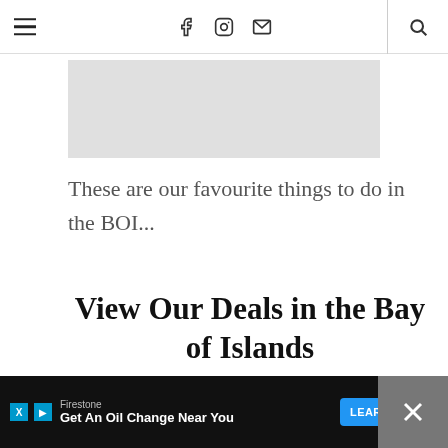Navigation bar with menu icon, social icons (Facebook, Instagram, Email), and search icon
[Figure (other): Gray advertisement placeholder box]
These are our favourite things to do in the BOI...
View Our Deals in the Bay of Islands
EXPLORE (JET BOAT TRIP & 3-HOUR CRUISE)
Firestone – Get An Oil Change Near You – LEARN MORE (advertisement banner)